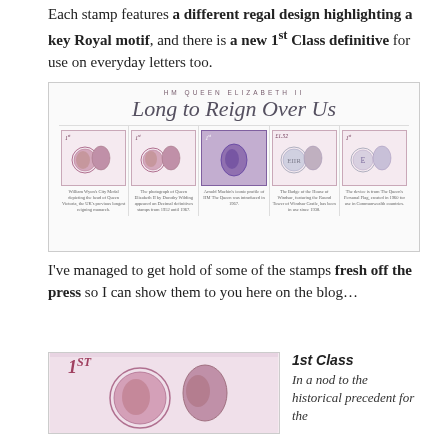Each stamp features a different regal design highlighting a key Royal motif, and there is a new 1st Class definitive for use on everyday letters too.
[Figure (illustration): HM Queen Elizabeth II stamp sheet titled 'Long to Reign Over Us' showing five commemorative stamps with Royal motifs and captions.]
I've managed to get hold of some of the stamps fresh off the press so I can show them to you here on the blog…
[Figure (photo): Close-up photo of a 1st Class stamp featuring a coin medal design with Queen's profile.]
1st Class
In a nod to the historical precedent for the